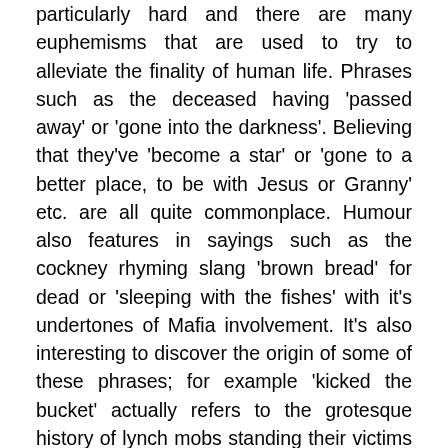particularly hard and there are many euphemisms that are used to try to alleviate the finality of human life. Phrases such as the deceased having 'passed away' or 'gone into the darkness'. Believing that they've 'become a star' or 'gone to a better place, to be with Jesus or Granny' etc. are all quite commonplace. Humour also features in sayings such as the cockney rhyming slang 'brown bread' for dead or 'sleeping with the fishes' with it's undertones of Mafia involvement. It's also interesting to discover the origin of some of these phrases; for example 'kicked the bucket' actually refers to the grotesque history of lynch mobs standing their victims on upturned buckets, which were then kicked away, or the more practical 'popped their clogs,' where the Lancastrian meaning of 'popped' equates to 'pawned,' so that in order to afford the funeral, the deceased's family would place their clogs in hock until they could afford to redeem them!